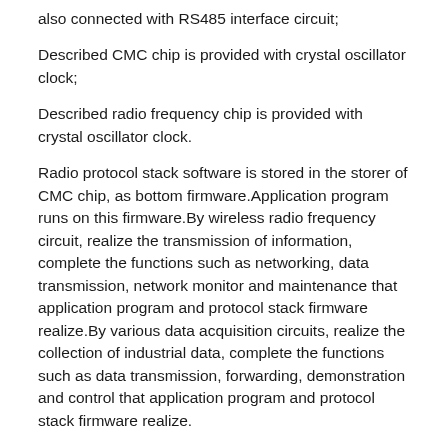also connected with RS485 interface circuit;
Described CMC chip is provided with crystal oscillator clock;
Described radio frequency chip is provided with crystal oscillator clock.
Radio protocol stack software is stored in the storer of CMC chip, as bottom firmware.Application program runs on this firmware.By wireless radio frequency circuit, realize the transmission of information, complete the functions such as networking, data transmission, network monitor and maintenance that application program and protocol stack firmware realize.By various data acquisition circuits, realize the collection of industrial data, complete the functions such as data transmission, forwarding, demonstration and control that application program and protocol stack firmware realize.
Described CMC chip is realized the management and running between routine processes and the program that realizes logic control and motion control in sheet, realizes the processing of controlling relevant analog quantity,